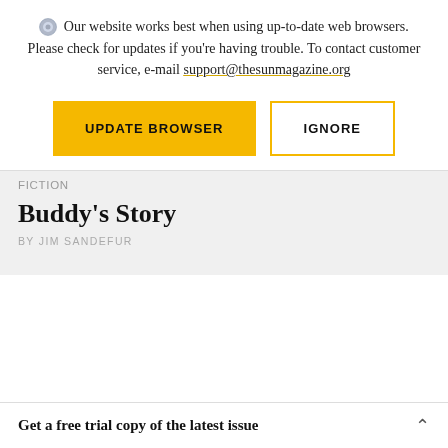Our website works best when using up-to-date web browsers. Please check for updates if you're having trouble. To contact customer service, e-mail support@thesunmagazine.org
[Figure (other): Two buttons: 'UPDATE BROWSER' (yellow filled) and 'IGNORE' (yellow outline)]
FICTION
Buddy's Story
BY JIM SANDEFUR
Get a free trial copy of the latest issue